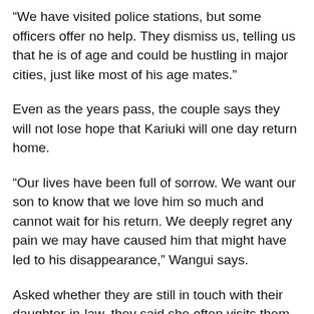“We have visited police stations, but some officers offer no help. They dismiss us, telling us that he is of age and could be hustling in major cities, just like most of his age mates.”
Even as the years pass, the couple says they will not lose hope that Kariuki will one day return home.
“Our lives have been full of sorrow. We want our son to know that we love him so much and cannot wait for his return. We deeply regret any pain we may have caused him that might have led to his disappearance,” Wangui says.
Asked whether they are still in touch with their daughter-in-law, they said she often visits them in the company of their now teenage grandson. Just like them, she has not heard